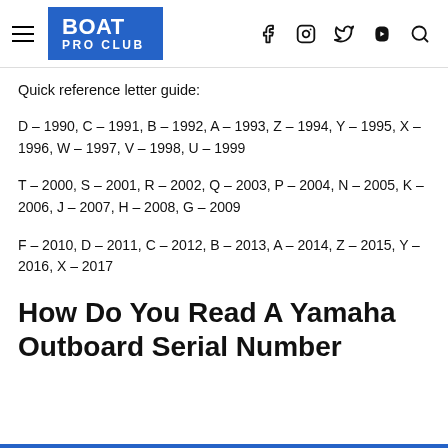BOAT PRO CLUB
Quick reference letter guide:
D – 1990, C – 1991, B – 1992, A – 1993, Z – 1994, Y – 1995, X – 1996, W – 1997, V – 1998, U – 1999
T – 2000, S – 2001, R – 2002, Q – 2003, P – 2004, N – 2005, K – 2006, J – 2007, H – 2008, G – 2009
F – 2010, D – 2011, C – 2012, B – 2013, A – 2014, Z – 2015, Y – 2016, X – 2017
How Do You Read A Yamaha Outboard Serial Number